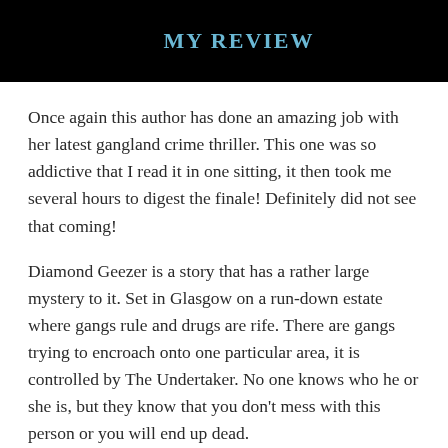MY REVIEW
Once again this author has done an amazing job with her latest gangland crime thriller. This one was so addictive that I read it in one sitting, it then took me several hours to digest the finale! Definitely did not see that coming!
Diamond Geezer is a story that has a rather large mystery to it. Set in Glasgow on a run-down estate where gangs rule and drugs are rife. There are gangs trying to encroach onto one particular area, it is controlled by The Undertaker. No one knows who he or she is, but they know that you don't mess with this person or you will end up dead.